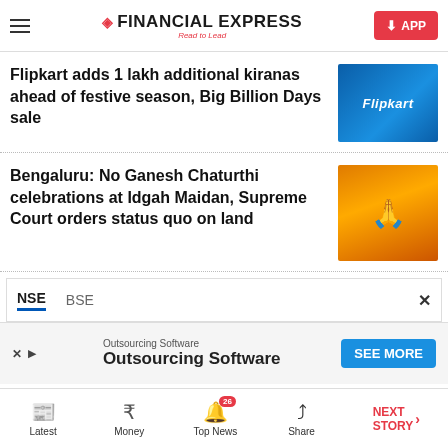Financial Express - Read to Lead
Flipkart adds 1 lakh additional kiranas ahead of festive season, Big Billion Days sale
[Figure (photo): Flipkart blue signage building exterior]
Bengaluru: No Ganesh Chaturthi celebrations at Idgah Maidan, Supreme Court orders status quo on land
[Figure (photo): Ganesh idol with decorative crown and ornaments]
NSE  BSE
[Figure (screenshot): Advertisement banner: Outsourcing Software with SEE MORE button]
Latest  Money  Top News (26)  Share  NEXT STORY